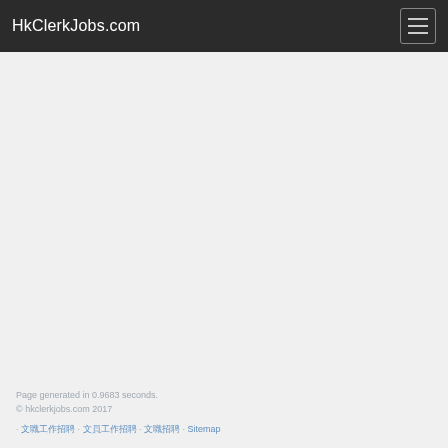HkClerkJobs.com
Page generated in 0.9683 seconds.
© hkclerkjobs.com 2017
· 文職工作招聘 · 文員工作招聘 · 文職招聘 · Sitemap